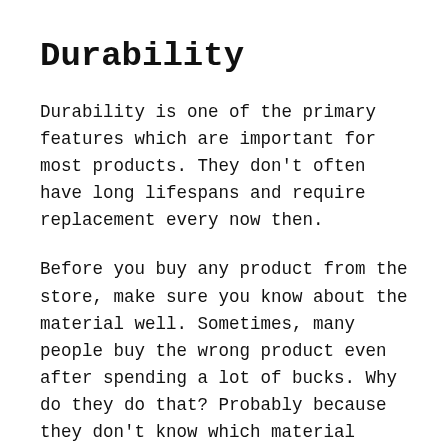Durability
Durability is one of the primary features which are important for most products. They don't often have long lifespans and require replacement every now then.
Before you buy any product from the store, make sure you know about the material well. Sometimes, many people buy the wrong product even after spending a lot of bucks. Why do they do that? Probably because they don't know which material ensures ultimate durability.
You should always focus on the quality of a product before getting it. Make sure it's sturdy and built to last. No matter whether it's made